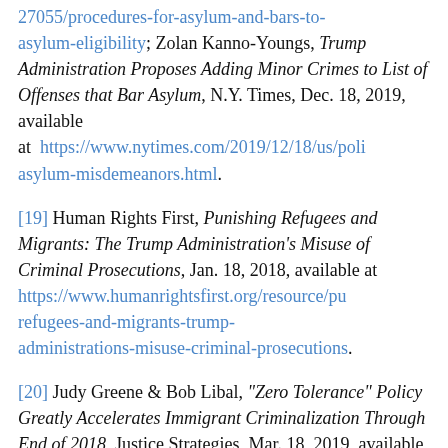27055/procedures-for-asylum-and-bars-to-asylum-eligibility; Zolan Kanno-Youngs, Trump Administration Proposes Adding Minor Crimes to List of Offenses that Bar Asylum, N.Y. Times, Dec. 18, 2019, available at https://www.nytimes.com/2019/12/18/us/poli asylum-misdemeanors.html.
[19] Human Rights First, Punishing Refugees and Migrants: The Trump Administration's Misuse of Criminal Prosecutions, Jan. 18, 2018, available at https://www.humanrightsfirst.org/resource/pu refugees-and-migrants-trump-administrations-misuse-criminal-prosecutions.
[20] Judy Greene & Bob Libal, "Zero Tolerance" Policy Greatly Accelerates Immigrant Criminalization Through End of 2018, Justice Strategies, Mar. 18, 2019, available